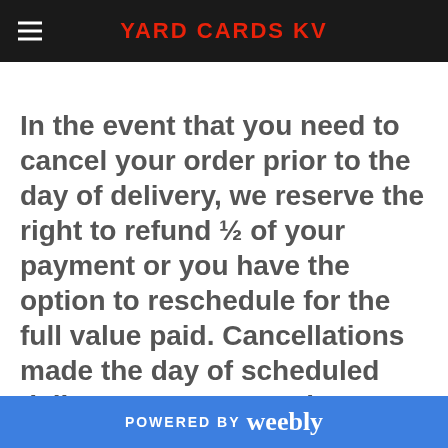YARD CARDS KV
In the event that you need to cancel your order prior to the day of delivery, we reserve the right to refund ½ of your payment or you have the option to reschedule for the full value paid. Cancellations made the day of scheduled delivery may not receive a refund.
POWERED BY weebly